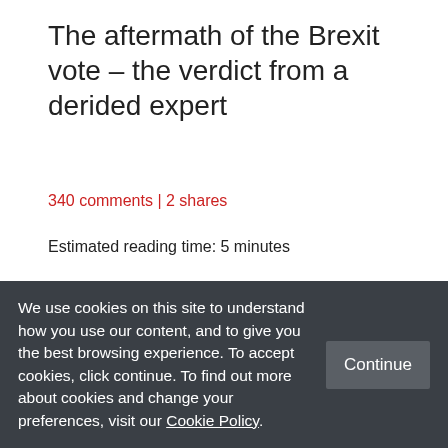The aftermath of the Brexit vote – the verdict from a derided expert
340 comments | 2 shares
Estimated reading time: 5 minutes
[Figure (infographic): Five red circular social share buttons: print, email, Facebook, Twitter, LinkedIn]
John Van Reenen was
We use cookies on this site to understand how you use our content, and to give you the best browsing experience. To accept cookies, click continue. To find out more about cookies and change your preferences, visit our Cookie Policy.